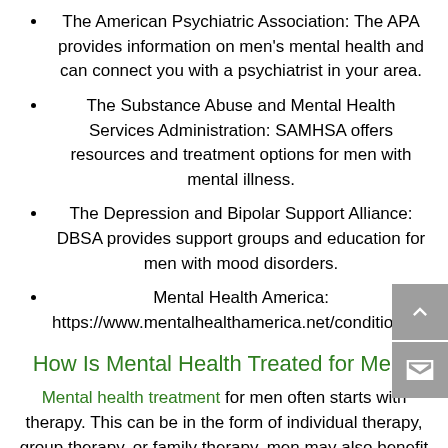The American Psychiatric Association: The APA provides information on men's mental health and can connect you with a psychiatrist in your area.
The Substance Abuse and Mental Health Services Administration: SAMHSA offers resources and treatment options for men with mental illness.
The Depression and Bipolar Support Alliance: DBSA provides support groups and education for men with mood disorders.
Mental Health America: https://www.mentalhealthamerica.net/conditions/men
How Is Mental Health Treated for Men?
Mental health treatment for men often starts with therapy. This can be in the form of individual therapy, group therapy, or family therapy. men may also benefit from medication. This can be used to treat depression, anxiety